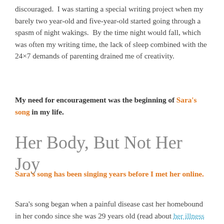discouraged.  I was starting a special writing project when my barely two year-old and five-year-old started going through a spasm of night wakings.  By the time night would fall, which was often my writing time, the lack of sleep combined with the 24×7 demands of parenting drained me of creativity.
My need for encouragement was the beginning of Sara's song in my life.
Her Body, But Not Her Joy
Sara's song has been singing years before I met her online.
Sara's song began when a painful disease cast her homebound in her condo since she was 29 years old (read about her illness here).